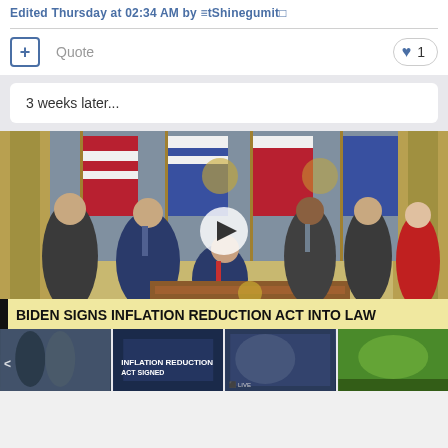Edited Thursday at 02:34 AM by ≡tShinegumit□
+ Quote
♥ 1
3 weeks later...
[Figure (photo): Video screenshot showing Biden signing the Inflation Reduction Act, surrounded by officials in front of American flags. Lower-third caption reads: BIDEN SIGNS INFLATION REDUCTION ACT INTO LAW]
[Figure (photo): Row of four thumbnail images from news videos at the bottom of the page]